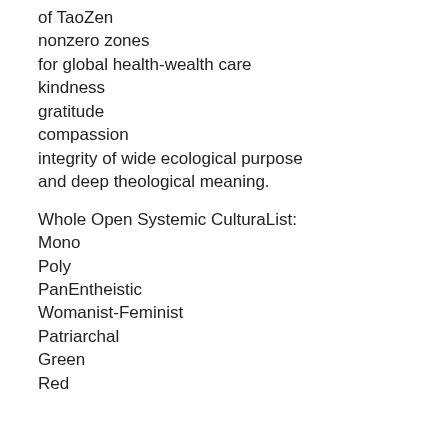of TaoZen
nonzero zones
for global health-wealth care
kindness
gratitude
compassion
integrity of wide ecological purpose
and deep theological meaning.
Whole Open Systemic CulturaList:
Mono
Poly
PanEntheistic
Womanist-Feminist
Patriarchal
Green
Red